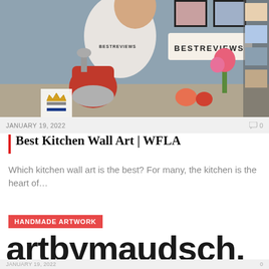[Figure (photo): Photo of a man wearing a BESTREVIEWS shirt, standing next to a red KitchenAid stand mixer on a counter with flowers, fruits, and kitchen tools. A BESTREVIEWS sign is visible on the wall with framed photos.]
JANUARY 19, 2022    0
Best Kitchen Wall Art | WFLA
Which kitchen wall art is the best? For many, the kitchen is the heart of...
HANDMADE ARTWORK
artbymaudsch.
JANUARY 19, 2022    0